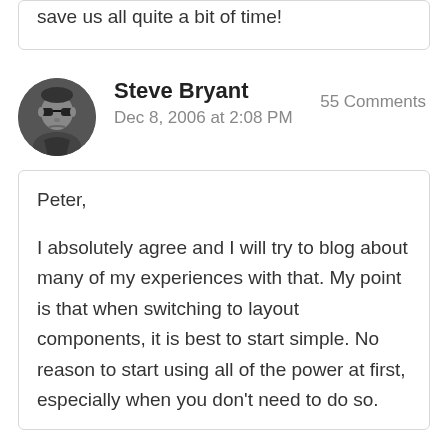there will be a few cool things that could save us all quite a bit of time!
Steve Bryant
Dec 8, 2006 at 2:08 PM
55 Comments
Peter,

I absolutely agree and I will try to blog about many of my experiences with that. My point is that when switching to layout components, it is best to start simple. No reason to start using all of the power at first, especially when you don't need to do so.